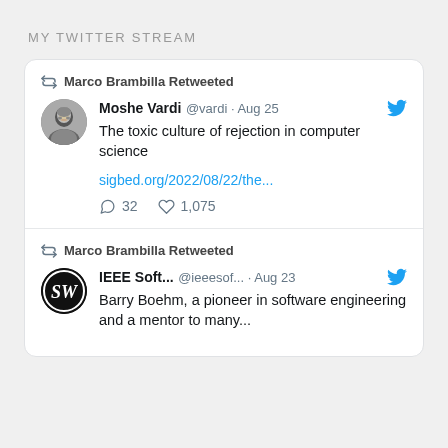MY TWITTER STREAM
Marco Brambilla Retweeted
Moshe Vardi @vardi · Aug 25
The toxic culture of rejection in computer science
sigbed.org/2022/08/22/the...
32  1,075
Marco Brambilla Retweeted
IEEE Soft... @ieeesof... · Aug 23
Barry Boehm, a pioneer in software engineering and a mentor to many...